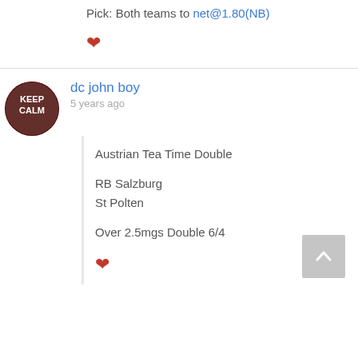Pick: Both teams to net@1.80(NB)
[Figure (illustration): Red heart icon]
dc john boy
5 years ago
[Figure (illustration): Keep Calm circular avatar image]
Austrian Tea Time Double
RB Salzburg
St Polten
Over 2.5mgs Double 6/4
[Figure (illustration): Red heart icon]
[Figure (illustration): Back to top arrow button]